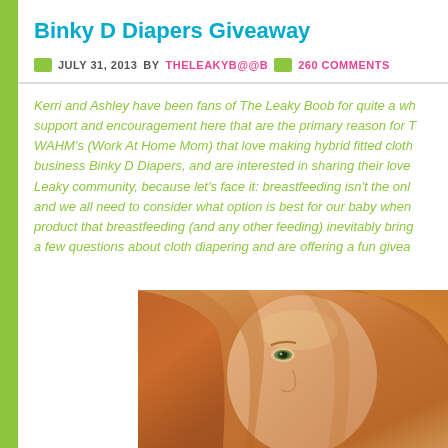Binky D Diapers Giveaway
JULY 31, 2013 BY THELEAKYB@@B  260 COMMENTS
Kerri and Ashley have been fans of The Leaky Boob for quite a wh... support and encouragement here that are the primary reason for T... WAHM's (Work At Home Mom) that love making hybrid fitted cloth... business Binky D Diapers, and are interested in sharing their love... Leaky community, because let's face it: breastfeeding isn't the onl... and we all need to consider what option is best for our baby when... product that breastfeeding (and any other feeding) inevitably bring... a few questions about cloth diapering and are offering a fun givea...
[Figure (photo): Close-up photo of a woman with long red/auburn hair, partial face visible showing one eye and nose, warm orange-brown tones]